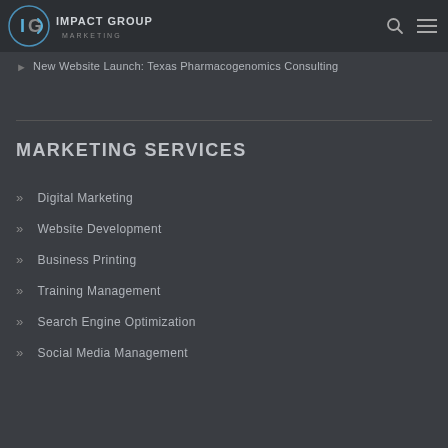[Figure (logo): Impact Group Marketing logo — IG emblem with 'IMPACT GROUP MARKETING' text in white/blue]
New Website Launch: Texas Pharmacogenomics Consulting
MARKETING SERVICES
Digital Marketing
Website Development
Business Printing
Training Management
Search Engine Optimization
Social Media Management